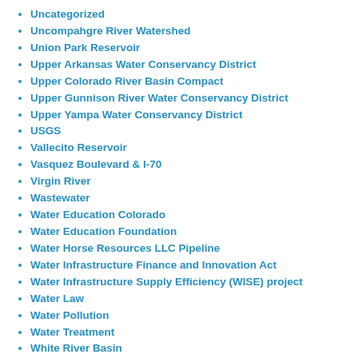Uncategorized
Uncompahgre River Watershed
Union Park Reservoir
Upper Arkansas Water Conservancy District
Upper Colorado River Basin Compact
Upper Gunnison River Water Conservancy District
Upper Yampa Water Conservancy District
USGS
Vallecito Reservoir
Vasquez Boulevard & I-70
Virgin River
Wastewater
Water Education Colorado
Water Education Foundation
Water Horse Resources LLC Pipeline
Water Infrastructure Finance and Innovation Act
Water Infrastructure Supply Efficiency (WISE) project
Water Law
Water Pollution
Water Treatment
White River Basin
Whitewater
Wiggins
Wild and Scenic
Wind